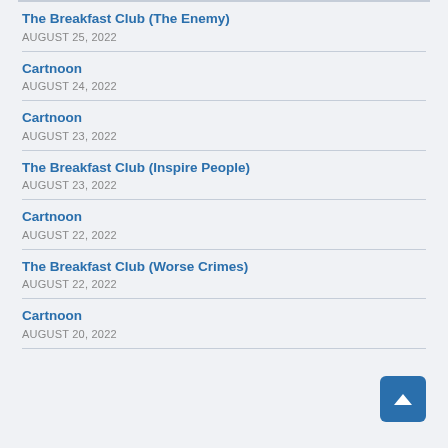The Breakfast Club (The Enemy)
AUGUST 25, 2022
Cartnoon
AUGUST 24, 2022
Cartnoon
AUGUST 23, 2022
The Breakfast Club (Inspire People)
AUGUST 23, 2022
Cartnoon
AUGUST 22, 2022
The Breakfast Club (Worse Crimes)
AUGUST 22, 2022
Cartnoon
AUGUST 20, 2022